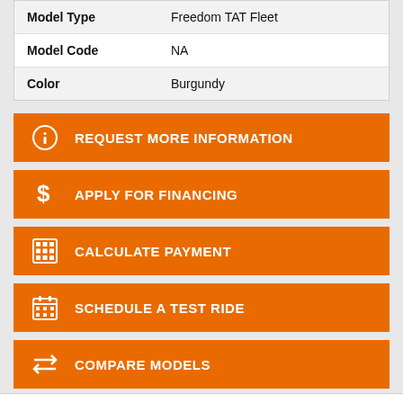| Model Type | Freedom TAT Fleet |
| Model Code | NA |
| Color | Burgundy |
REQUEST MORE INFORMATION
APPLY FOR FINANCING
CALCULATE PAYMENT
SCHEDULE A TEST RIDE
COMPARE MODELS